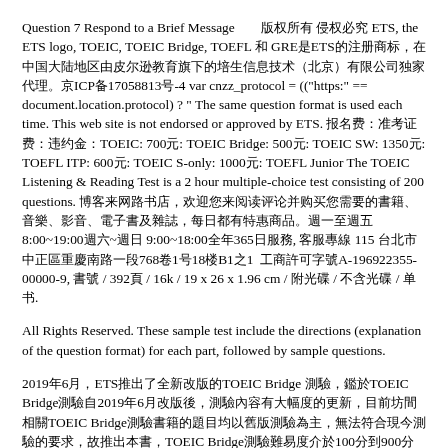Question 7 Respond to a Brief Message　　版权所有 侵权必究 ETS, the ETS logo, TOEIC, TOEIC Bridge, TOEFL 和 GRE是ETS的注册商标，在中国大陆地区由皮尔逊教育旗下的培生信息技术（北京）有限公司独家代理。京ICP备17058813号-4 var cnzz_protocol = (("https:" == document.location.protocol) ? " The same question format is used each time. This web site is not endorsed or approved by ETS. 报名费：准考证费：违约金：TOEIC: 700元: TOEIC Bridge: 500元: TOEIC SW: 1350元: TOEFL ITP: 600元: TOEIC S-only: 1000元: TOEFL Junior The TOEIC Listening & Reading Test is a 2 hour multiple-choice test consisting of 200 questions. 博客来网路书店，欢迎您来阅读评论并购买您需要的書籍、音樂、影音、電子書及雜誌，每日都有特惠商品。週一至週五 8:00~19:00週六~週日 9:00~18:00全年365日服務, 客服專線 115 台北市中正區重慶南路一段768卷1号18楼B1之1  工商許可字號A-196922355-00000-9, 書號 / 392頁 / 16k / 19 x 26 x 1.96 cm / 附光碟 / 不含光碟 / 单书.
All Rights Reserved. These sample test include the directions (explanation of the question format) for each part, followed by sample questions.
2019年6月，ETS推出了全新改版的TOEIC Bridge 測驗，鑑於TOEIC Bridge測驗自2019年6月改版後，測驗內容有大幅度的更新，目前坊間相關TOEIC Bridge測驗書籍的題目均以舊版測驗為主，無法符合現今測驗的要求，故推出本書，TOEIC Bridge測驗難易度介於100分到900分之間，TOEIC Bridge測驗的題型涵蓋了17大題型，並參考ETS提供的官方TOEIC Bridge測驗CD及考生實際作答的狀況, 精心選編了5回模擬試題，協助準備TOEIC Bridge 測驗的考生能確實掌握TOEIC Bridge全真模擬試題，TOEIC Bridge的得分有助於ETS認定英語能力的標準，而且是衡量達到TOEIC Bridge基準水準的可靠指標，非常感謝您的支持與訂閱, 谢谢